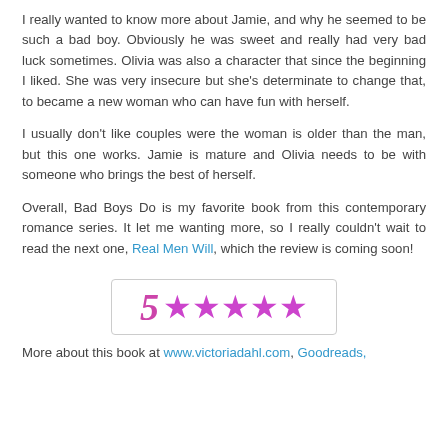I really wanted to know more about Jamie, and why he seemed to be such a bad boy. Obviously he was sweet and really had very bad luck sometimes. Olivia was also a character that since the beginning I liked. She was very insecure but she's determinate to change that, to became a new woman who can have fun with herself.
I usually don't like couples were the woman is older than the man, but this one works. Jamie is mature and Olivia needs to be with someone who brings the best of herself.
Overall, Bad Boys Do is my favorite book from this contemporary romance series. It let me wanting more, so I really couldn't wait to read the next one, Real Men Will, which the review is coming soon!
[Figure (other): Rating box showing '5' followed by five purple stars indicating a 5-star rating]
More about this book at www.victoriadahl.com, Goodreads,